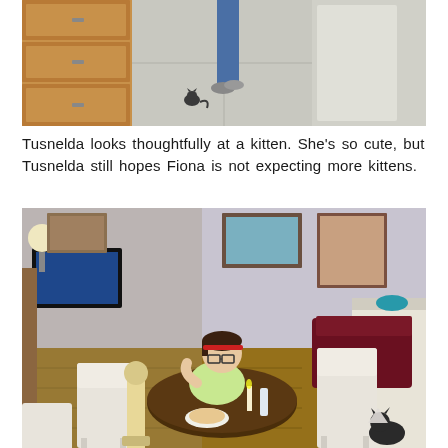[Figure (screenshot): Screenshot from The Sims 4 game showing a Sim character walking in what appears to a veterinary office or kitchen area with a small kitten on the floor]
Tusnelda looks thoughtfully at a kitten. She’s so cute, but Tusnelda still hopes Fiona is not expecting more kittens.
[Figure (screenshot): Screenshot from The Sims 4 game showing a female Sim with glasses and a red headband eating at a round dining table in a cozy living room with white chairs, a dark sofa, TV, artwork on walls, and a cat scratching post nearby]